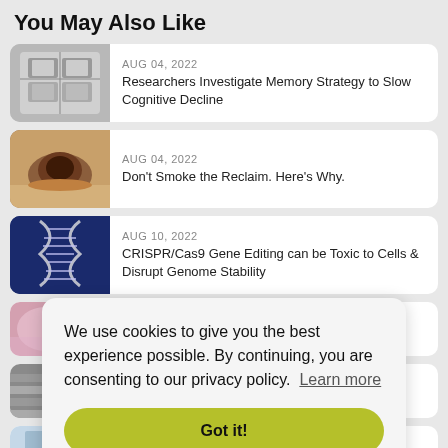You May Also Like
[Figure (photo): Person holding brain scan X-ray images]
AUG 04, 2022
Researchers Investigate Memory Strategy to Slow Cognitive Decline
[Figure (photo): Glass bowl with amber resin reclaim]
AUG 04, 2022
Don't Smoke the Reclaim. Here's Why.
[Figure (photo): DNA double helix strands on blue background]
AUG 10, 2022
CRISPR/Cas9 Gene Editing can be Toxic to Cells & Disrupt Genome Stability
[Figure (photo): Colorful abstract art image, partial]
[Figure (photo): Concrete or stone surface, partial]
[Figure (photo): Lab or medical setting, partial]
Why is Thinking Hard So Exhausting?
We use cookies to give you the best experience possible. By continuing, you are consenting to our privacy policy. Learn more
Got it!